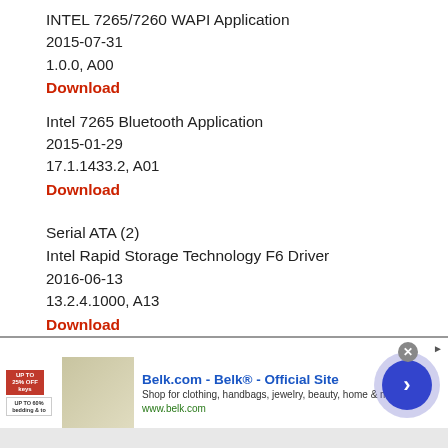INTEL 7265/7260 WAPI Application
2015-07-31
1.0.0, A00
Download
Intel 7265 Bluetooth Application
2015-01-29
17.1.1433.2, A01
Download
Serial ATA (2)
Intel Rapid Storage Technology F6 Driver
2016-06-13
13.2.4.1000, A13
Download
Intel Rapid Storage Driver
[Figure (screenshot): Advertisement banner for Belk.com - Belk Official Site with close button, product image, text and navigation arrow]